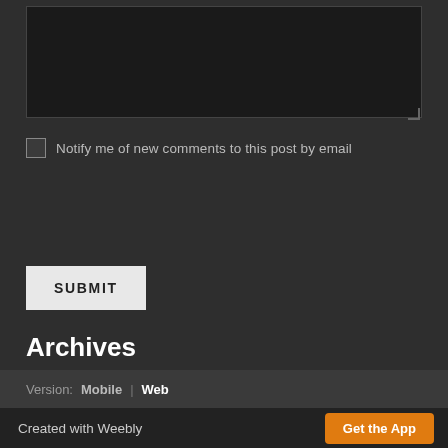[Figure (screenshot): Dark-themed textarea input box for comments with resize handle in bottom-right corner]
Notify me of new comments to this post by email
SUBMIT
Archives
April 2013
RSS Feed
Version:  Mobile | Web
Created with Weebly    Get the App